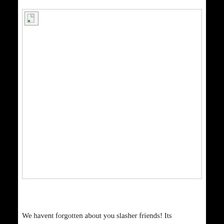[Figure (photo): Broken/missing image placeholder with small document icon in upper-left corner of image container]
We havent forgotten about you slasher friends! Its